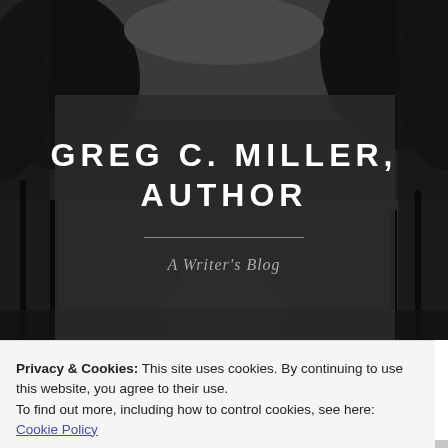[Figure (photo): Black and white outdoor background photo showing trees and a path, used as the website header background image]
GREG C. MILLER, AUTHOR
A Writer's Blog
Privacy & Cookies: This site uses cookies. By continuing to use this website, you agree to their use.
To find out more, including how to control cookies, see here: Cookie Policy
Close and accept